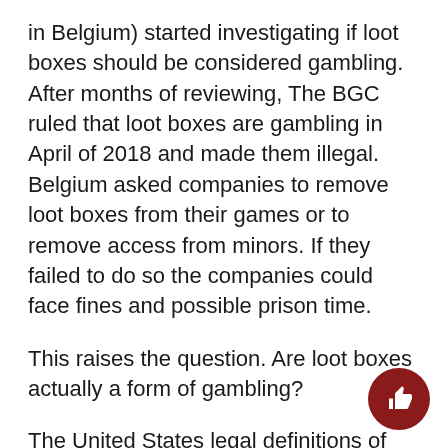in Belgium) started investigating if loot boxes should be considered gambling. After months of reviewing, The BGC ruled that loot boxes are gambling in April of 2018 and made them illegal. Belgium asked companies to remove loot boxes from their games or to remove access from minors. If they failed to do so the companies could face fines and possible prison time.
This raises the question. Are loot boxes actually a form of gambling?
The United States legal definitions of gambling is, “A person engages in gambling if he stakes or risks something of value upon the outcome of a contest of chance or a future contingent event not under his control or influence, up[on] an agreement or understanding that he or...